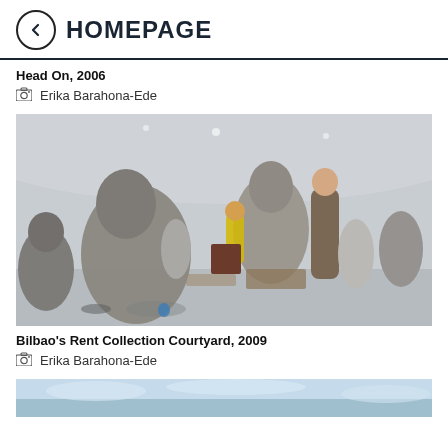HOMEPAGE
Head On, 2006
Erika Barahona-Ede
[Figure (photo): Installation view of Bilbao's Rent Collection Courtyard, 2009 — large-scale clay/mud sculptures of human figures in various poses inside a circular gallery space, with workers and the artist visible among the figures]
Bilbao's Rent Collection Courtyard, 2009
Erika Barahona-Ede
[Figure (photo): Partial view of another artwork — sky visible at the bottom of the page]